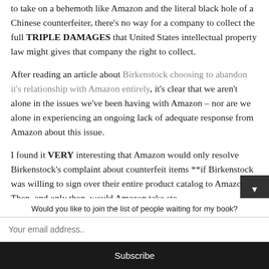to take on a behemoth like Amazon and the literal black hole of a Chinese counterfeiter, there's no way for a company to collect the full TRIPLE DAMAGES that United States intellectual property law might gives that company the right to collect.
After reading an article about Birkenstock choosing to abandon it's relationship with Amazon entirely, it's clear that we aren't alone in the issues we've been having with Amazon – nor are we alone in experiencing an ongoing lack of adequate response from Amazon about this issue.
I found it VERY interesting that Amazon would only resolve Birkenstock's complaint about counterfeit items **if Birkenstock was willing to sign over their entire product catalog to Amazon**. Then, and only then, would Amazon take ste...
Would you like to join the list of people waiting for my book?